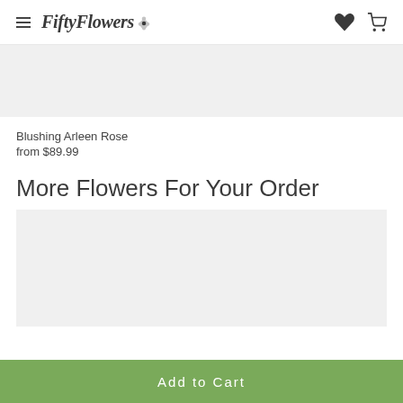FiftyFlowers
[Figure (photo): Gray placeholder image area for Blushing Arleen Rose product]
Blushing Arleen Rose
from $89.99
More Flowers For Your Order
[Figure (photo): Gray placeholder image area for additional flower product]
Add to Cart